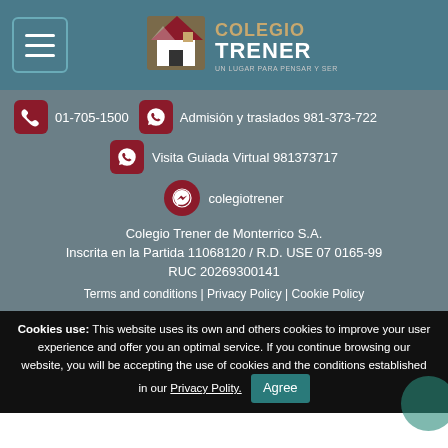[Figure (logo): Colegio Trener logo with house/mountain icon and text 'COLEGIO TRENER - UN LUGAR PARA PENSAR Y SER']
01-705-1500
Admisión y traslados 981-373-722
Visita Guiada Virtual 981373717
colegiotrener
Colegio Trener de Monterrico S.A.
Inscrita en la Partida 11068120 / R.D. USE 07 0165-99
RUC 20269300141
Terms and conditions | Privacy Policy | Cookie Policy
Cookies use: This website uses its own and others cookies to improve your user experience and offer you an optimal service. If you continue browsing our website, you will be accepting the use of cookies and the conditions established in our Privacy Polity. Agree